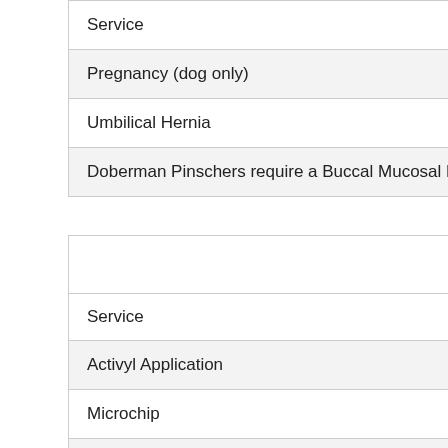| Service |
| --- |
| Pregnancy (dog only) |
| Umbilical Hernia |
| Doberman Pinschers require a Buccal Mucosal Bleed... |
| Additional Services Available |
| --- |
| Service | Ca... |
| Activyl Application | $... |
| Microchip |  |
| Heartworm/Lyme/Ehrlichia/Anaplasma Test |  |